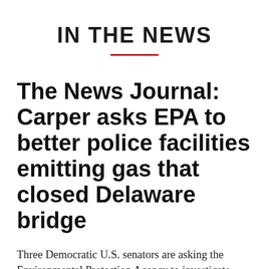IN THE NEWS
The News Journal: Carper asks EPA to better police facilities emitting gas that closed Delaware bridge
Three Democratic U.S. senators are asking the Environmental Protection Agency to investigate allegations it isn't properly inspecting facilities that emit the cancer-causing gas ethylene oxide, the substance that leaked from Croda Inc. near New Castle Nov. 25, shutting down traffic on the Delaware Memorial Bridge. U.S. Sens.